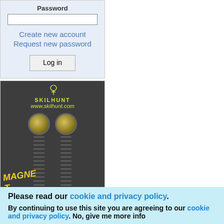Password
Create new account
Request new password
Log in
[Figure (photo): Skilhunt flashlight advertisement showing two angled-head flashlights with yellow lenses, text reads SKILHUNT www.skilhunt.com, MAGNETIC CHARGING HEAD]
Please read our cookie and privacy policy.
By continuing to use this site you are agreeing to our cookie and privacy policy. No, give me more info